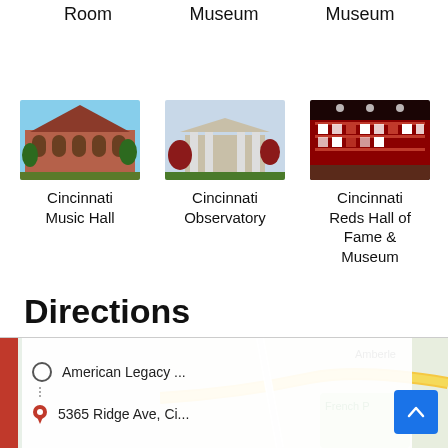Room
Museum
Museum
[Figure (photo): Exterior photo of Cincinnati Music Hall, a red brick Gothic Revival building]
Cincinnati Music Hall
[Figure (photo): Exterior photo of Cincinnati Observatory, a neoclassical building with columns and red-flowering trees]
Cincinnati Observatory
[Figure (photo): Interior photo of Cincinnati Reds Hall of Fame & Museum showing display cases with memorabilia]
Cincinnati Reds Hall of Fame & Museum
Directions
[Figure (map): Map showing directions from American Legacy... to 5365 Ridge Ave, Ci... with road map background showing Amberle and French P areas]
American Legacy ...
5365 Ridge Ave, Ci...